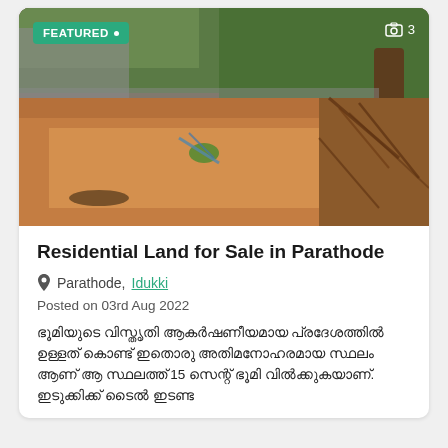[Figure (photo): Outdoor photo of a cleared residential plot of land with reddish-brown soil, tree roots, and trees in the background. A green 'FEATURED' badge is in the top-left corner and a camera icon with '3' is in the top-right.]
Residential Land for Sale in Parathode
Parathode, Idukki
Posted on 03rd Aug 2022
Malayalam script description text mentioning 15 and other details.